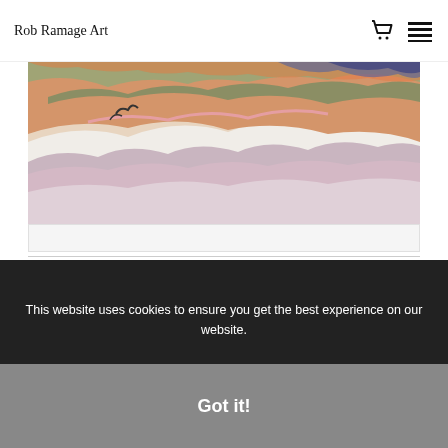Rob Ramage Art
[Figure (photo): Abstract landscape painting with colorful swirling mountains and hills in orange, green, blue, purple and white tones]
Matrix paintings ▶
This website uses cookies to ensure you get the best experience on our website.
Got it!